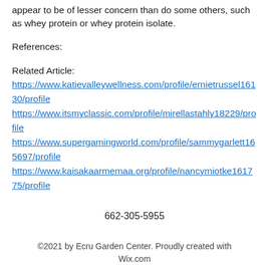appear to be of lesser concern than do some others, such as whey protein or whey protein isolate.
References:
Related Article:
https://www.katievalleywellness.com/profile/ernietrussel16130/profile https://www.itsmyclassic.com/profile/mirellastahly18229/profile https://www.supergamingworld.com/profile/sammygarlett165697/profile https://www.kaisakaarmemaa.org/profile/nancymiotke161775/profile
662-305-5955
©2021 by Ecru Garden Center. Proudly created with Wix.com